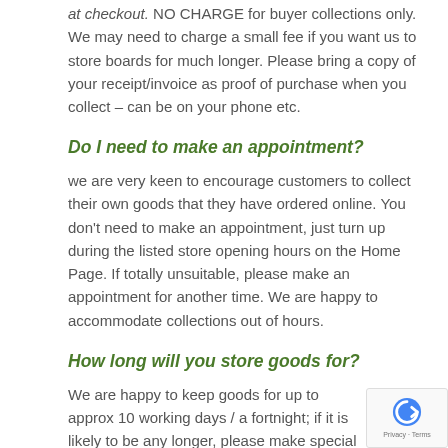at checkout.  NO CHARGE for buyer collections only.  We may need to charge a small fee if you want us to store boards for much longer.  Please bring a copy of your receipt/invoice as proof of purchase when you collect – can be on your phone etc.
Do I need to make an appointment?
we are very keen to encourage customers to collect their own goods that they have ordered online.  You don't need to make an appointment, just turn up during the listed store opening hours on the Home Page.  If totally unsuitable, please make an appointment for another time.  We are happy to accommodate collections out of hours.
How long will you store goods for?
We are happy to keep goods for up to approx 10 working days / a fortnight; if it is likely to be any longer, please make special arrangements with us.